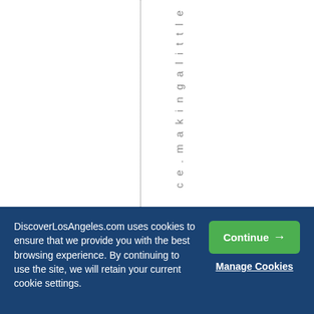ce.makingalittle
DiscoverLosAngeles.com uses cookies to ensure that we provide you with the best browsing experience. By continuing to use the site, we will retain your current cookie settings.
Continue →
Manage Cookies